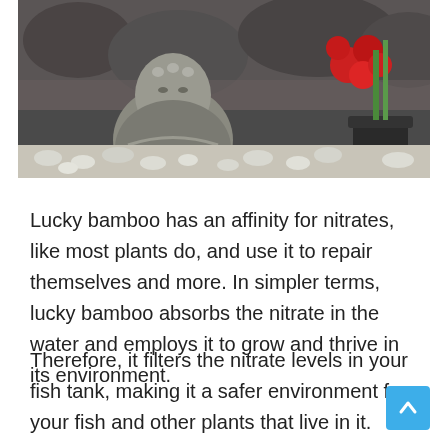[Figure (photo): Aquarium scene with a stone Buddha statue, white pebbles, red flowers, a small plant in a dark pot, and rocky background]
Lucky bamboo has an affinity for nitrates, like most plants do, and use it to repair themselves and more. In simpler terms, lucky bamboo absorbs the nitrate in the water and employs it to grow and thrive in its environment.
Therefore, it filters the nitrate levels in your fish tank, making it a safer environment for your fish and other plants that live in it.